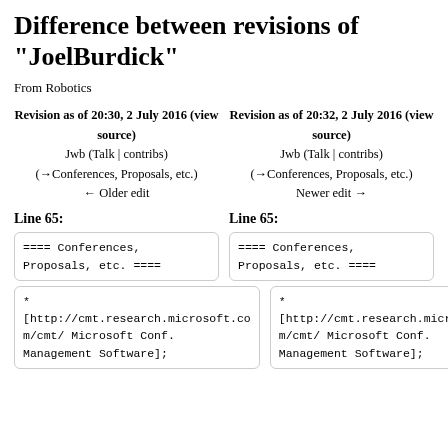Difference between revisions of "JoelBurdick"
From Robotics
Revision as of 20:30, 2 July 2016 (view source)
Jwb (Talk | contribs)
(→Conferences, Proposals, etc.)
← Older edit
Revision as of 20:32, 2 July 2016 (view source)
Jwb (Talk | contribs)
(→Conferences, Proposals, etc.)
Newer edit →
Line 65:
Line 65:
==== Conferences, Proposals, etc. ====
==== Conferences, Proposals, etc. ====
* [http://cmt.research.microsoft.com/cmt/ Microsoft Conf. Management Software];
* [http://cmt.research.microsoft.com/cmt/ Microsoft Conf. Management Software];